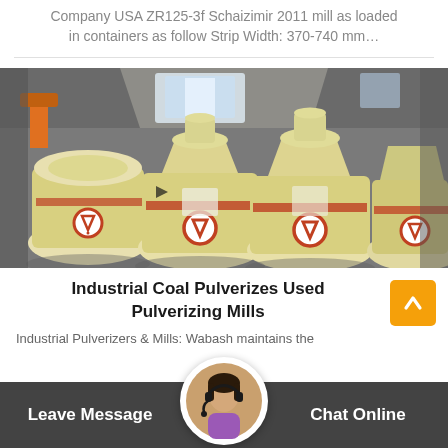Company USA ZR125-3f Schaizimir 2011 mill as loaded in containers as follow Strip Width: 370-740 mm…
[Figure (photo): Industrial coal pulverizer mills (yellow conical grinding machines) arranged in a row inside a factory or warehouse setting]
Industrial Coal Pulverizes Used Pulverizing Mills
Industrial Pulverizers & Mills: Wabash maintains the
Leave Message
Chat Online